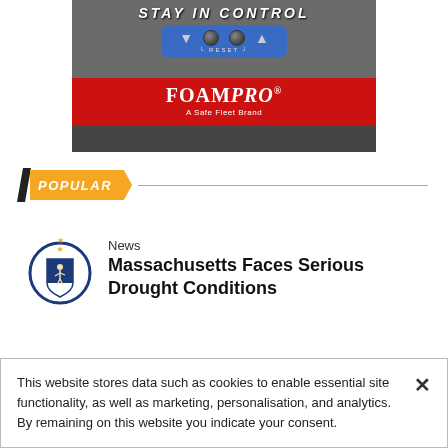[Figure (photo): FoamPro advertisement banner showing a blue device with knobs and text 'STAY IN CONTROL', 'RESET', with red background, FoamPro logo and 'A Safe Fleet Brand' tagline]
POPULAR
News
Massachusetts Faces Serious Drought Conditions
This website stores data such as cookies to enable essential site functionality, as well as marketing, personalisation, and analytics. By remaining on this website you indicate your consent.